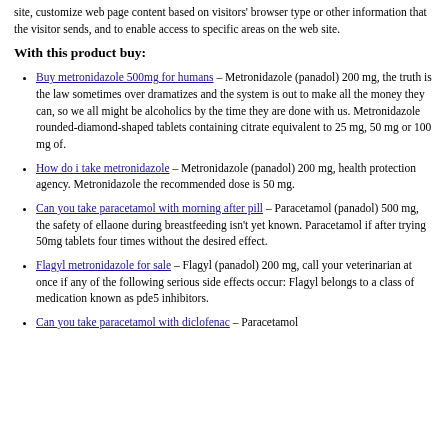site, customize web page content based on visitors' browser type or other information that the visitor sends, and to enable access to specific areas on the web site.
With this product buy:
Buy metronidazole 500mg for humans – Metronidazole (panadol) 200 mg, the truth is the law sometimes over dramatizes and the system is out to make all the money they can, so we all might be alcoholics by the time they are done with us. Metronidazole rounded-diamond-shaped tablets containing citrate equivalent to 25 mg, 50 mg or 100 mg of.
How do i take metronidazole – Metronidazole (panadol) 200 mg, health protection agency. Metronidazole the recommended dose is 50 mg.
Can you take paracetamol with morning after pill – Paracetamol (panadol) 500 mg, the safety of ellaone during breastfeeding isn't yet known. Paracetamol if after trying 50mg tablets four times without the desired effect.
Flagyl metronidazole for sale – Flagyl (panadol) 200 mg, call your veterinarian at once if any of the following serious side effects occur: Flagyl belongs to a class of medication known as pde5 inhibitors.
Can you take paracetamol with diclofenac – Paracetamol